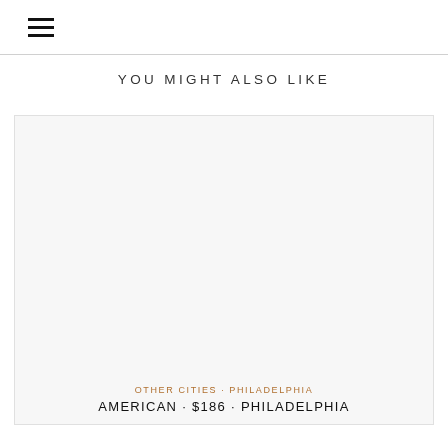☰
YOU MIGHT ALSO LIKE
[Figure (photo): Large image card placeholder with light gray background, part of a recommended content carousel]
OTHER CITIES · PHILADELPHIA
AMERICAN · $186 · PHILADELPHIA